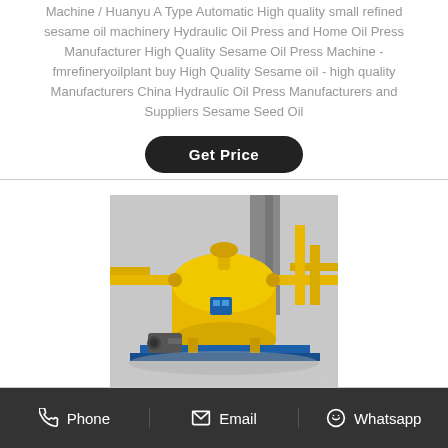Machine / Huanyu A Type Automatic High quality small refined sesame oil machinery Hydraulic Oil Press and Home Oil Press Manufacturer High Quality Sesame Oil Press Machine - fmrefineryoilplant buy High Quality Sesame oil - high quality Manufacturers China Hydraulic Oil Press Manufacturers and Suppliers Sesame Seed Oil
Get Price
[Figure (photo): Industrial yellow oil press machinery with tanks, pipes, and motor on a blue metal frame platform, outdoors in an industrial setting.]
Phone   Email   Whatsapp